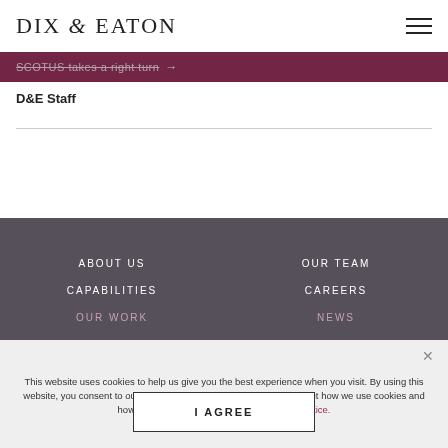DIX & EATON
SCOTUS takes a right turn →
D&E Staff
ABOUT US | OUR TEAM | CAPABILITIES | CAREERS | OUR WORK | NEWS
This website uses cookies to help us give you the best experience when you visit. By using this website, you consent to our use of these cookies. Find out more about how we use cookies and how to manage them by reading our cookie notice.
I AGREE